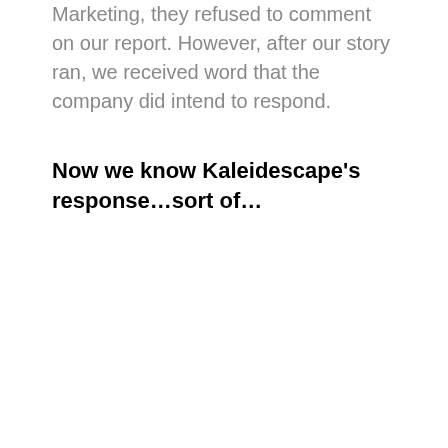Marketing, they refused to comment on our report. However, after our story ran, we received word that the company did intend to respond.
Now we know Kaleidescape's response…sort of…